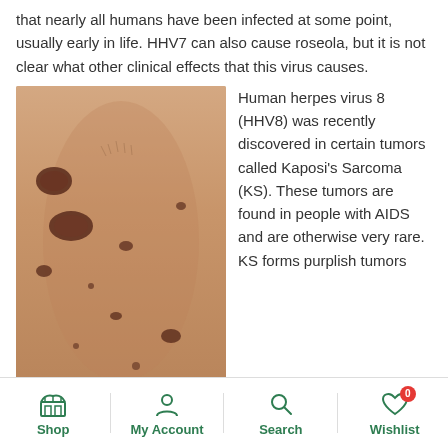Human herpes viruses, HHV6 and HHV7 are so common that nearly all humans have been infected at some point, usually early in life. HHV7 can also cause roseola, but it is not clear what other clinical effects that this virus causes.
[Figure (photo): Photo of a person's torso showing multiple dark purplish-brown Kaposi's Sarcoma lesions on the skin]
Human herpes virus 8 (HHV8) was recently discovered in certain tumors called Kaposi's Sarcoma (KS). These tumors are found in people with AIDS and are otherwise very rare. KS forms purplish tumors in the skin and other tissues of some people with AIDS. It is very difficult to treat with medication. HHV8 may